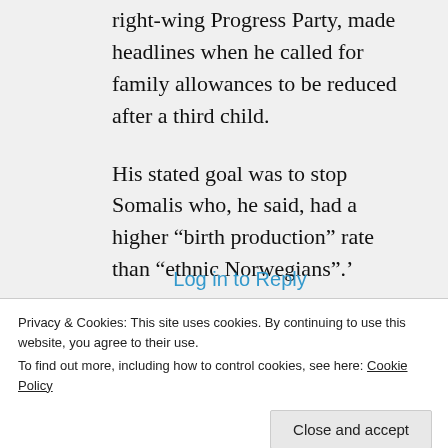right-wing Progress Party, made headlines when he called for family allowances to be reduced after a third child.
His stated goal was to stop Somalis who, he said, had a higher “birth production” rate than “ethnic Norwegians”.’
Log in to Reply
Privacy & Cookies: This site uses cookies. By continuing to use this website, you agree to their use. To find out more, including how to control cookies, see here: Cookie Policy
Close and accept
0   0   Rate This